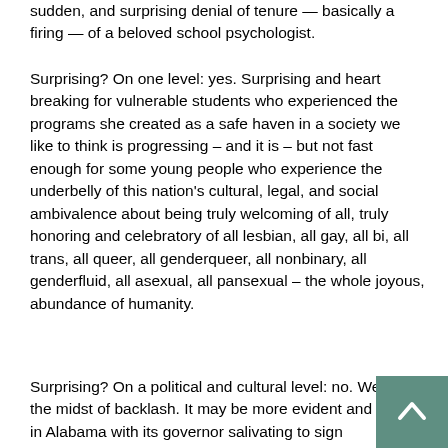sudden, and surprising denial of tenure — basically a firing — of a beloved school psychologist.
Surprising? On one level: yes. Surprising and heart breaking for vulnerable students who experienced the programs she created as a safe haven in a society we like to think is progressing – and it is – but not fast enough for some young people who experience the underbelly of this nation's cultural, legal, and social ambivalence about being truly welcoming of all, truly honoring and celebratory of all lesbian, all gay, all bi, all trans, all queer, all genderqueer, all nonbinary, all genderfluid, all asexual, all pansexual – the whole joyous, abundance of humanity.
Surprising? On a political and cultural level: no. We are in the midst of backlash. It may be more evident and explicit in Alabama with its governor salivating to sign